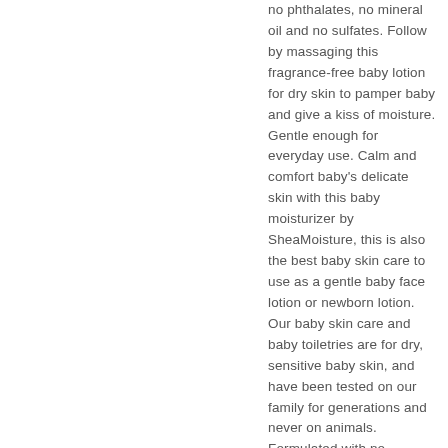no phthalates, no mineral oil and no sulfates. Follow by massaging this fragrance-free baby lotion for dry skin to pamper baby and give a kiss of moisture. Gentle enough for everyday use. Calm and comfort baby's delicate skin with this baby moisturizer by SheaMoisture, this is also the best baby skin care to use as a gentle baby face lotion or newborn lotion. Our baby skin care and baby toiletries are for dry, sensitive baby skin, and have been tested on our family for generations and never on animals. Formulated with no parabens, no phthalates, no mineral oil and no sulfates, SheaMoisture's here and...